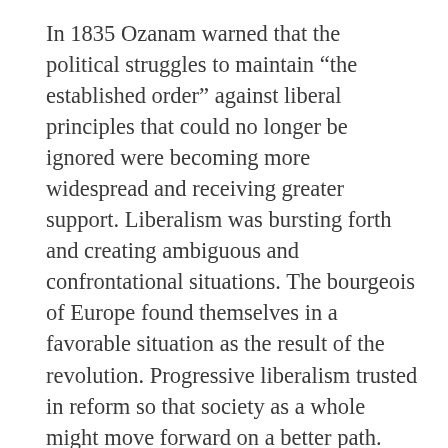In 1835 Ozanam warned that the political struggles to maintain “the established order” against liberal principles that could no longer be ignored were becoming more widespread and receiving greater support. Liberalism was bursting forth and creating ambiguous and confrontational situations. The bourgeois of Europe found themselves in a favorable situation as the result of the revolution. Progressive liberalism trusted in reform so that society as a whole might move forward on a better path. Socialism proposed a profound change. In light of this situation Ozanam spoke out and using his influence began to give guidelines that would help people in their analysis of the situation: the future is very bleak and the ground on which we find ourselves is very muddy … the time has come to extend our hand and support one another… let us make every effort to ensure that the